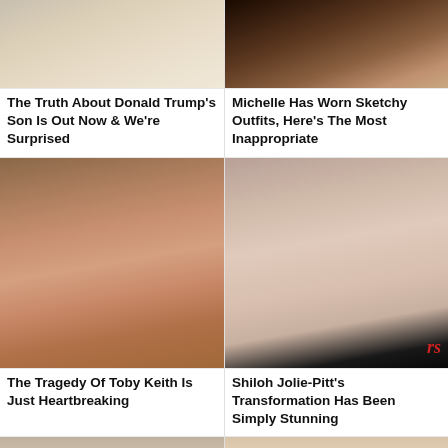[Figure (photo): Close-up of a young man's face, light skin, wearing a suit]
The Truth About Donald Trump's Son Is Out Now & We're Surprised
[Figure (photo): Close-up of a Black woman's face wearing feathered accessories]
Michelle Has Worn Sketchy Outfits, Here's The Most Inappropriate
[Figure (photo): Close-up of Toby Keith smiling, wearing a cap, with beard]
The Tragedy Of Toby Keith Is Just Heartbreaking
[Figure (photo): Close-up of Shiloh Jolie-Pitt, young woman with blue eyes and brown hair]
Shiloh Jolie-Pitt's Transformation Has Been Simply Stunning
[Figure (photo): Partial view of an older man's face]
[Figure (photo): Partial view of a young woman with long hair]